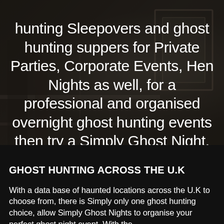[Figure (photo): Dark grayscale background photo of an old building interior or exterior, dimly lit, with dark tones suggesting a haunted or eerie setting.]
hunting Sleepovers and ghost hunting suppers for Private Parties, Corporate Events, Hen Nights as well, for a professional and organised overnight ghost hunting events then try a Simply Ghost Night.
GHOST HUNTING ACROSS THE U.K
With a data base of haunted locations across the U.K to choose from, there is Simply only one ghost hunting choice, allow Simply Ghost Nights to organise your perfect ghost night event. With the